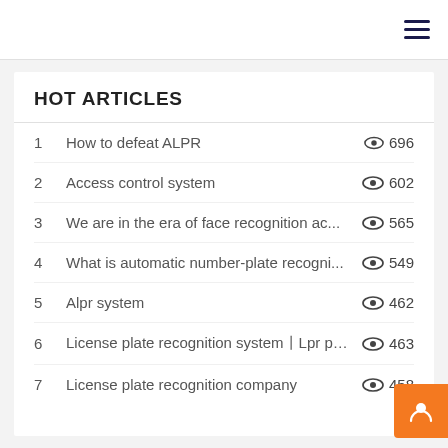HOT ARTICLES
1  How to defeat ALPR  👁 696
2  Access control system  👁 602
3  We are in the era of face recognition ac...  👁 565
4  What is automatic number-plate recogni...  👁 549
5  Alpr system  👁 462
6  License plate recognition system丨Lpr pa...  👁 463
7  License plate recognition company  👁 458